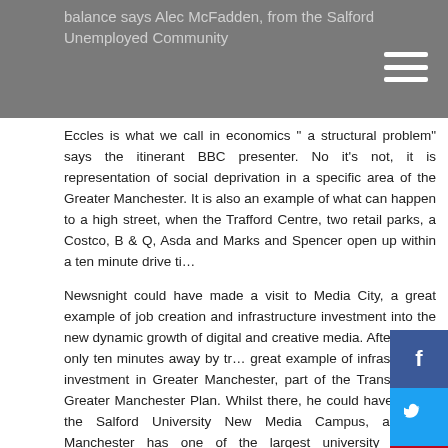balance says Alec McFadden, from the Salford Unemployed Community
Eccles is what we call in economics “ a structural problem” says the itinerant BBC presenter. No it’s not, it is representation of social deprivation in a specific area of the Greater Manchester. It is also an example of what can happen to a high street, when the Trafford Centre, two retail parks, a Costco, B & Q, Asda and Marks and Spencer open up within a ten minute drive ti…
Newsnight could have made a visit to Media City, a great example of job creation and infrastructure investment into the new dynamic growth of digital and creative media. After all, it’s only ten minutes away by tr… great example of infrastructure investment in Greater Manchester, part of the Transport for Greater Manchester Plan. Whilst there, he could have visited the Salford University New Media Campus, after all Manchester has one of the largest university student populations in Europe. He could have arrived by plane, reminding viewers we have just bought Stansted. Had he done so, he would have passed the Airport Enterprise Zone en route with sight of the new Medi Park, both on track to create a substantial number of new jobs over the next five years within Greater Manchester.
No, Newsnight had to go to Eccles. It had been a long day. Paul had taken breakfast in a pop up breakfast bar in Soho, it doubles as a bar in the evening. “It’s what we call in economics using spare capacity” says the man who once